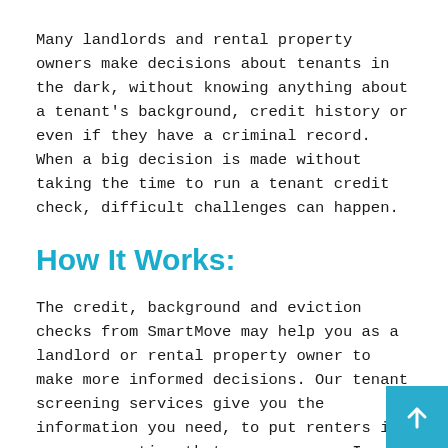Many landlords and rental property owners make decisions about tenants in the dark, without knowing anything about a tenant's background, credit history or even if they have a criminal record. When a big decision is made without taking the time to run a tenant credit check, difficult challenges can happen.
How It Works:
The credit, background and eviction checks from SmartMove may help you as a landlord or rental property owner to make more informed decisions. Our tenant screening services give you the information you need, to put renters in your properties that you approve. In just minutes, you can access a potential tenant's criminal, eviction and credit reports. And with